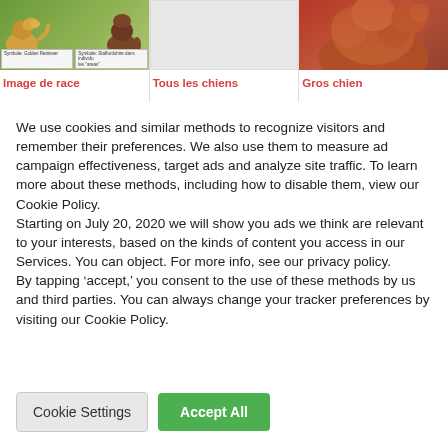[Figure (photo): Three dog breed cards in a horizontal row at top of page. Left card shows two dogs (golden retriever and pit bull) on grass with small label tags. Middle card shows a mostly white/blank image. Right card shows a large fluffy reddish-brown dog.]
Image de race
Tous les chiens
Gros chien
We use cookies and similar methods to recognize visitors and remember their preferences. We also use them to measure ad campaign effectiveness, target ads and analyze site traffic. To learn more about these methods, including how to disable them, view our Cookie Policy.
Starting on July 20, 2020 we will show you ads we think are relevant to your interests, based on the kinds of content you access in our Services. You can object. For more info, see our privacy policy.
By tapping ‘accept,’ you consent to the use of these methods by us and third parties. You can always change your tracker preferences by visiting our Cookie Policy.
Cookie Settings
Accept All